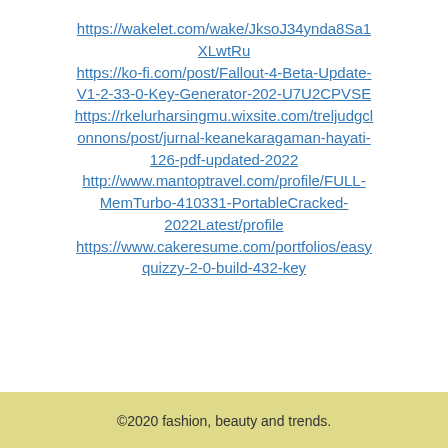https://wakelet.com/wake/JksoJ34ynda8Sa1XLwtRu
https://ko-fi.com/post/Fallout-4-Beta-Update-V1-2-33-0-Key-Generator-202-U7U2CPVSE
https://rkelurharsingmu.wixsite.com/treljudgclonnons/post/jurnal-keanekaragaman-hayati-126-pdf-updated-2022
http://www.mantoptravel.com/profile/FULL-MemTurbo-410331-PortableCracked-2022Latest/profile
https://www.cakeresume.com/portfolios/easyquizzy-2-0-build-432-key
[Figure (infographic): Social share icons: Facebook (dark blue square with white F), Twitter (light blue square with white bird), Pinterest (red circle with white P), Email (dark envelope icon)]
©2020 fashion, beauty and trends.